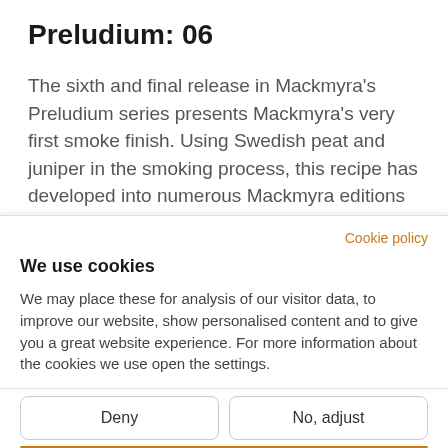Preludium: 06
The sixth and final release in Mackmyra's Preludium series presents Mackmyra's very first smoke finish. Using Swedish peat and juniper in the smoking process, this recipe has developed into numerous Mackmyra editions including Rök
Cookie policy
We use cookies
We may place these for analysis of our visitor data, to improve our website, show personalised content and to give you a great website experience. For more information about the cookies we use open the settings.
Accept all
Deny
No, adjust